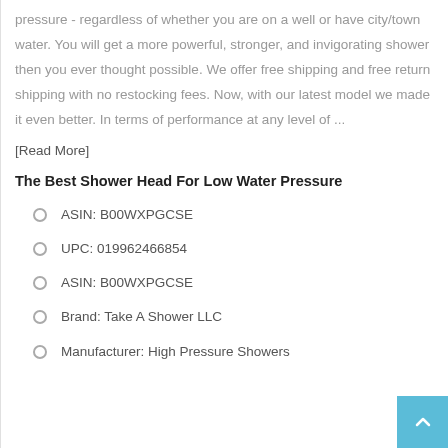pressure - regardless of whether you are on a well or have city/town water. You will get a more powerful, stronger, and invigorating shower then you ever thought possible. We offer free shipping and free return shipping with no restocking fees. Now, with our latest model we made it even better. In terms of performance at any level of ...
[Read More]
The Best Shower Head For Low Water Pressure
ASIN: B00WXPGCSE
UPC: 019962466854
ASIN: B00WXPGCSE
Brand: Take A Shower LLC
Manufacturer: High Pressure Showers